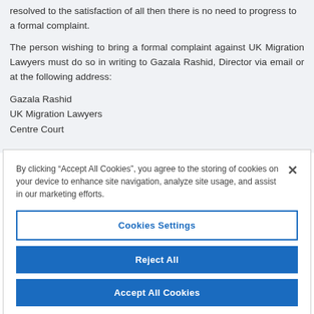resolved to the satisfaction of all then there is no need to progress to a formal complaint.
The person wishing to bring a formal complaint against UK Migration Lawyers must do so in writing to Gazala Rashid, Director via email or at the following address:
Gazala Rashid
UK Migration Lawyers
Centre Court
By clicking “Accept All Cookies”, you agree to the storing of cookies on your device to enhance site navigation, analyze site usage, and assist in our marketing efforts.
Cookies Settings
Reject All
Accept All Cookies